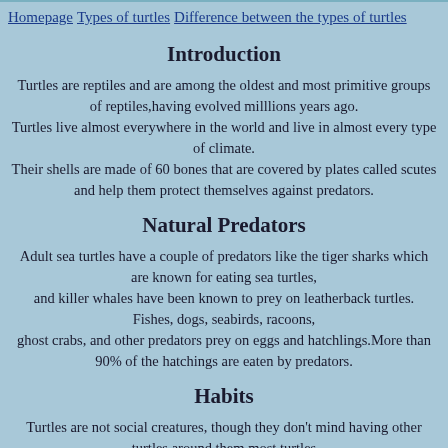Homepage  Types of turtles  Difference between the types of turtles
Introduction
Turtles are reptiles and are among the oldest and most primitive groups of reptiles,having evolved milllions years ago. Turtles live almost everywhere in the world and live in almost every type of climate. Their shells are made of 60 bones that are covered by plates called scutes and help them protect themselves against predators.
Natural Predators
Adult sea turtles have a couple of predators like the tiger sharks which are known for eating sea turtles, and killer whales have been known to prey on leatherback turtles. Fishes, dogs, seabirds, racoons, ghost crabs, and other predators prey on eggs and hatchlings.More than 90% of the hatchings are eaten by predators.
Habits
Turtles are not social creatures, though they don't mind having other turtles around them most turtles